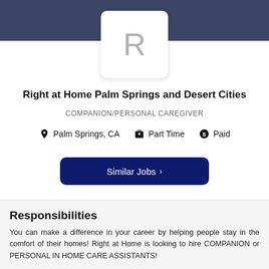[Figure (logo): Right at Home company logo card showing the letter R on white card with dark banner background]
Right at Home Palm Springs and Desert Cities
COMPANION/PERSONAL CAREGIVER
Palm Springs, CA  Part Time  Paid
Similar Jobs >
Responsibilities
You can make a difference in your career by helping people stay in the comfort of their homes! Right at Home is looking to hire COMPANION or PERSONAL IN HOME CARE ASSISTANTS!
We have immediate 4,6,8 AND 12 HRS SHIFTS available
ASK ABOUT OUR $300 SIGNING BONUS